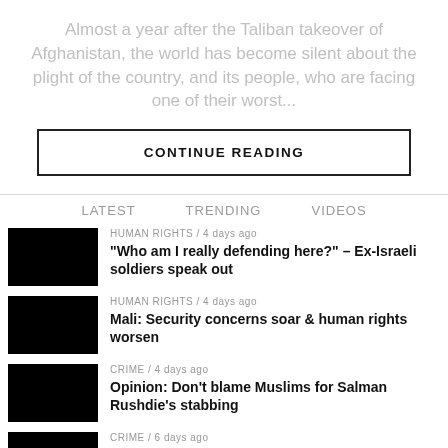Almost a year after the Taliban takeover of Afghanistan, the world has become silent about the plight of the country, and its people, who are facing one of their worst...
CONTINUE READING
LATEST   TRENDING   VIDEOS
HUMAN RIGHTS / 4 days ago — "Who am I really defending here?" – Ex-Israeli soldiers speak out
HUMAN RIGHTS / 4 days ago — Mali: Security concerns soar & human rights worsen
CRIME / 4 days ago — Opinion: Don't blame Muslims for Salman Rushdie's stabbing
CRIME / 6 days ago — The Taliban's Broken Pledges: a regressive state for women's rights